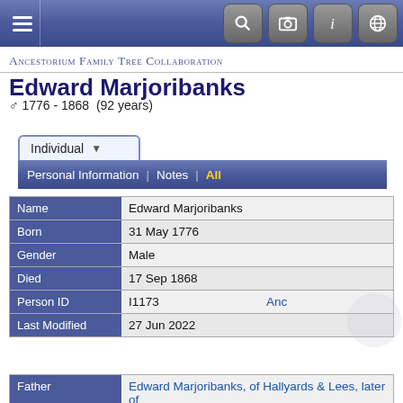Ancestorium Family Tree Collaboration
Edward Marjoribanks
♂ 1776 - 1868  (92 years)
| Field | Value |
| --- | --- |
| Name | Edward Marjoribanks |
| Born | 31 May 1776 |
| Gender | Male |
| Died | 17 Sep 1868 |
| Person ID | I1173 |
| Last Modified | 27 Jun 2022 |
| Field | Value |
| --- | --- |
| Father | Edward Marjoribanks, of Hallyards & Lees, later of |